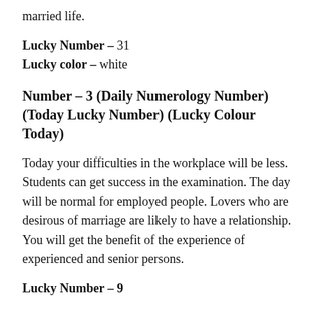married life.
Lucky Number – 31
Lucky color – white
Number – 3 (Daily Numerology Number) (Today Lucky Number) (Lucky Colour Today)
Today your difficulties in the workplace will be less. Students can get success in the examination. The day will be normal for employed people. Lovers who are desirous of marriage are likely to have a relationship. You will get the benefit of the experience of experienced and senior persons.
Lucky Number – 9